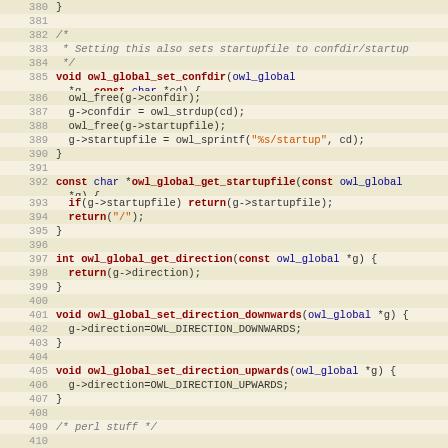Source code listing, lines 380-410, C code for owl_global functions